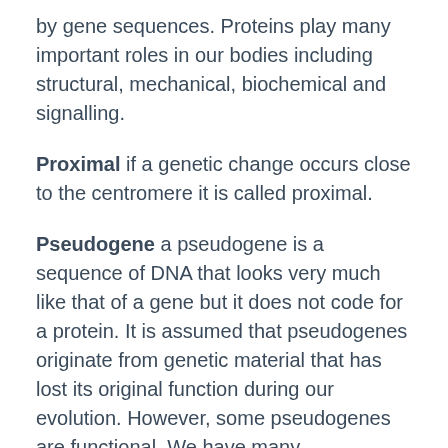by gene sequences. Proteins play many important roles in our bodies including structural, mechanical, biochemical and signalling.
Proximal if a genetic change occurs close to the centromere it is called proximal.
Pseudogene a pseudogene is a sequence of DNA that looks very much like that of a gene but it does not code for a protein. It is assumed that pseudogenes originate from genetic material that has lost its original function during our evolution. However, some pseudogenes are functional. We have many pseudogenes in our genome and some code